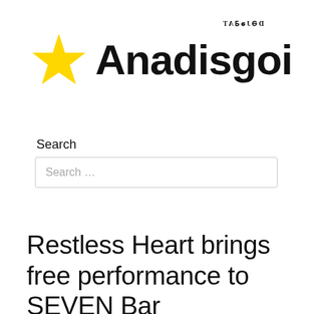[Figure (logo): Anadisgoi logo with yellow star and text, tagline 'TAΔΟΛΘQ' above]
Search
Search …
Restless Heart brings free performance to SEVEN Bar